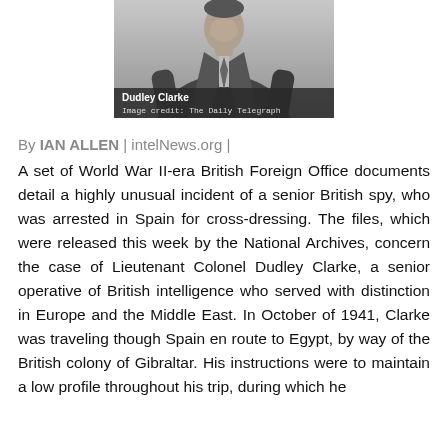[Figure (photo): Black and white photograph of Dudley Clarke, a man in a suit. Caption overlay reads 'Dudley Clarke' and 'Image credit: The Daily Telegraph']
By IAN ALLEN | intelNews.org |
A set of World War II-era British Foreign Office documents detail a highly unusual incident of a senior British spy, who was arrested in Spain for cross-dressing. The files, which were released this week by the National Archives, concern the case of Lieutenant Colonel Dudley Clarke, a senior operative of British intelligence who served with distinction in Europe and the Middle East. In October of 1941, Clarke was traveling though Spain en route to Egypt, by way of the British colony of Gibraltar. His instructions were to maintain a low profile throughout his trip, during which he